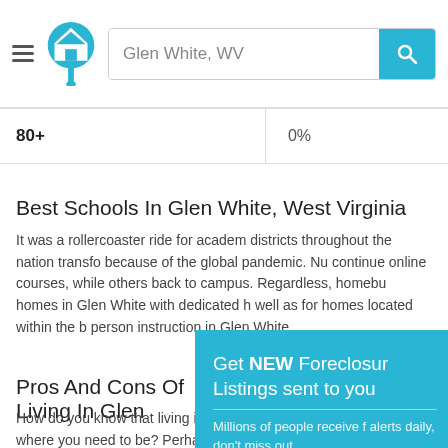Glen White, WV — search bar header with logo
| Age Range | Percentage |
| --- | --- |
| 80+ | 0% |
Best Schools In Glen White, West Virginia
It was a rollercoaster ride for academic districts throughout the nation transf... because of the global pandemic. Nu... continue online courses, while others... back to campus. Regardless, homebu... homes in Glen White with dedicated h... well as for homes located within the b... person instruction in Glen White.
[Figure (screenshot): Popup overlay: 'Get NEW Foreclosure Listings sent to you. Millions of people receive f... alerts daily, don't miss out.' with a 'Signup Here' red button and 'No Thanks | Remind Me La...' links and a white diamond/envelope icon.]
Pros And Cons Of Living In Glen
How do you know that living in -- or moving to -- Glen White is right where you need to be? Perhaps you grew up in Glen White or already live nearby; therefore, the decision to buy a home in